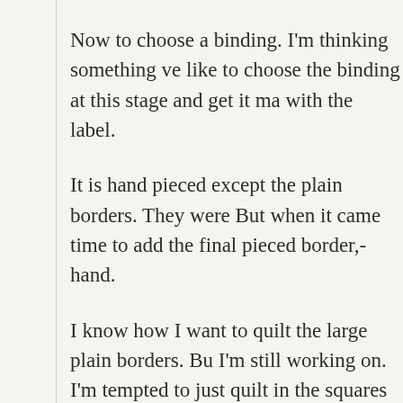Now to choose a binding. I'm thinking something ve… like to choose the binding at this stage and get it ma… with the label.
It is hand pieced except the plain borders. They were… But when it came time to add the final pieced border,… hand.
I know how I want to quilt the large plain borders. Bu… I'm still working on. I'm tempted to just quilt in the… squares in each round of the star.
It was made with shapes from the free Inklingo colle… cornerstones in the final border. For those, I needed… square and used shapes from the 6.75″ Storm at Sea…
I worked on another of the pieced blocks for the red… Star/Sunflower border last night, although I was te…